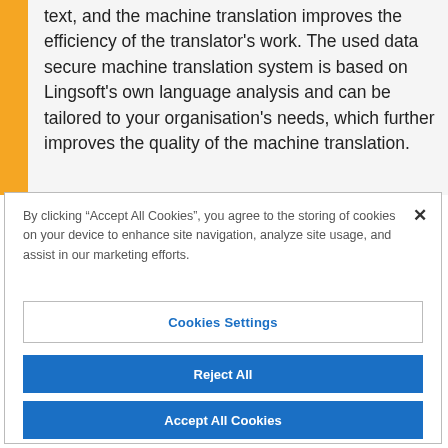text, and the machine translation improves the efficiency of the translator's work. The used data secure machine translation system is based on Lingsoft's own language analysis and can be tailored to your organisation's needs, which further improves the quality of the machine translation.
By clicking “Accept All Cookies”, you agree to the storing of cookies on your device to enhance site navigation, analyze site usage, and assist in our marketing efforts.
Cookies Settings
Reject All
Accept All Cookies